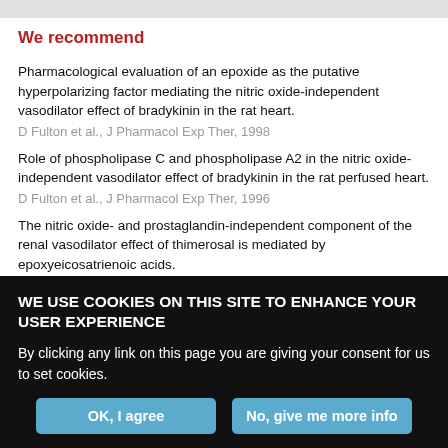We recommend
Pharmacological evaluation of an epoxide as the putative hyperpolarizing factor mediating the nitric oxide-independent vasodilator effect of bradykinin in the rat heart.
D Fulton et al., J Pharmacol Exp Ther, 1998
Role of phospholipase C and phospholipase A2 in the nitric oxide-independent vasodilator effect of bradykinin in the rat perfused heart.
D Fulton et al., J Pharmacol Exp Ther, 1996
The nitric oxide- and prostaglandin-independent component of the renal vasodilator effect of thimerosal is mediated by epoxyeicosatrienoic acids.
Y-J Chen et al., J Pharmacol Exp Ther, 2003
WE USE COOKIES ON THIS SITE TO ENHANCE YOUR USER EXPERIENCE
By clicking any link on this page you are giving your consent for us to set cookies.